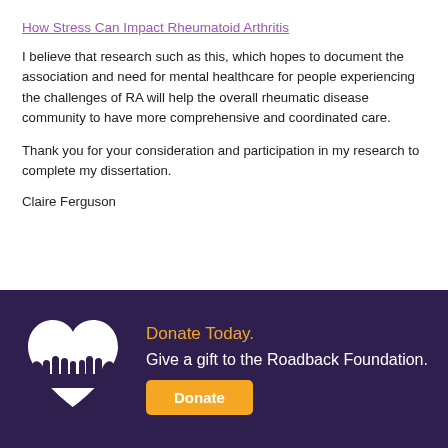How Stress Can Impact Rheumatoid Arthritis
I believe that research such as this, which hopes to document the association and need for mental healthcare for people experiencing the challenges of RA will help the overall rheumatic disease community to have more comprehensive and coordinated care.
Thank you for your consideration and participation in my research to complete my dissertation.
Claire Ferguson
[Figure (illustration): White heart-shaped icon made of two clasped hands on dark purple background, representing charitable giving]
Donate Today.
Give a gift to the Roadback Foundation.
Donate